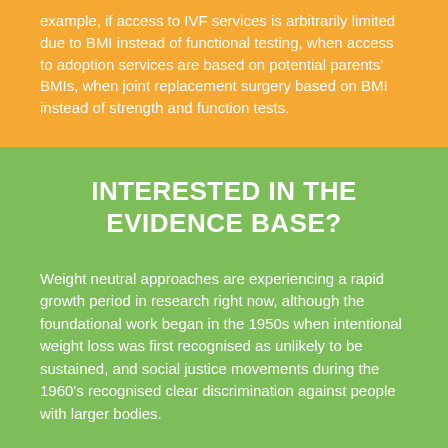example, if access to IVF services is arbitrarily limited due to BMI instead of functional testing, when access to adoption services are based on potential parents' BMIs, when joint replacement surgery based on BMI instead of strength and function tests.
INTERESTED IN THE EVIDENCE BASE?
Weight neutral approaches are experiencing a rapid growth period in research right now, although the foundational work began in the 1950s when intentional weight loss was first recognised as unlikely to be sustained, and social justice movements during the 1960's recognised clear discrimination against people with larger bodies.
These academic articles will get you started: